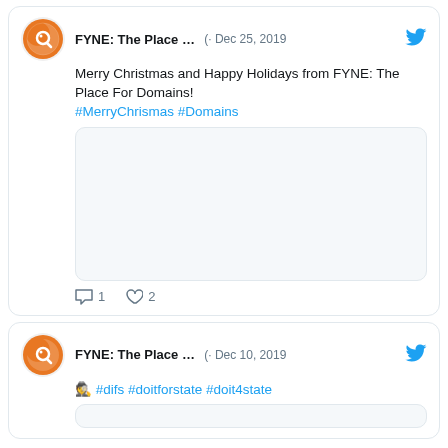[Figure (screenshot): Tweet from FYNE: The Place For Domains dated Dec 25, 2019 with orange logo avatar, tweet text, media placeholder, and action counts (1 comment, 2 likes)]
FYNE: The Place …  · Dec 25, 2019
Merry Christmas and Happy Holidays from FYNE: The Place For Domains!
#MerryChrismas #Domains
[Figure (screenshot): Tweet from FYNE: The Place For Domains dated Dec 10, 2019 with orange logo avatar and hashtags #difs #doitforstate #doit4state]
FYNE: The Place …  · Dec 10, 2019
🕵 #difs #doitforstate #doit4state
Search FYNE® Blog™